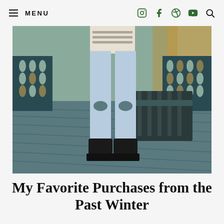MENU (navigation icons: Instagram, Facebook, Pinterest, YouTube, Search)
[Figure (photo): Person standing on a dark teal/blue wooden deck wearing ripped light-wash jeans, a white and black patterned sweater, and chunky black platform chelsea boots. A dark wooden bench is visible in the background along with an ornate dark fence with oval cutouts.]
My Favorite Purchases from the Past Winter